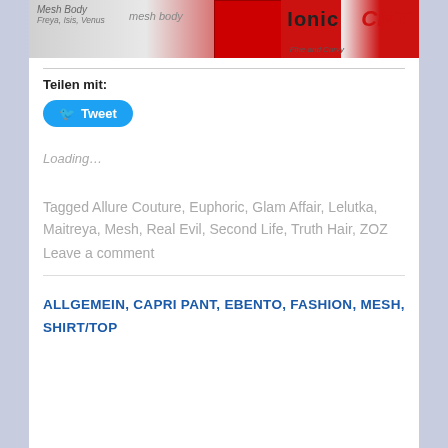[Figure (screenshot): Banner image showing mesh body brands including Freya, Isis, Venus logos and Ionic and CMT brand logos on a light/red background]
Teilen mit:
[Figure (other): Twitter Tweet button in blue rounded rectangle]
Loading...
Tagged Allure Couture, Euphoric, Glam Affair, Lelutka, Maitreya, Mesh, Real Evil, Second Life, Truth Hair, ZOZ
Leave a comment
ALLGEMEIN, CAPRI PANT, EBENTO, FASHION, MESH, SHIRT/TOP